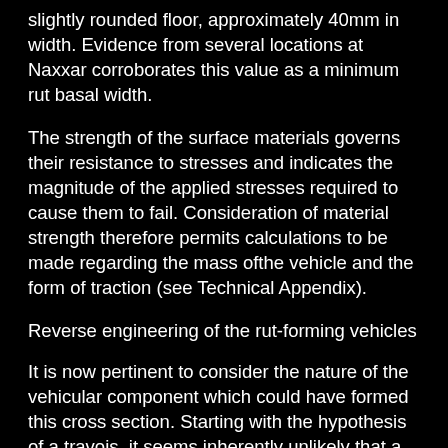slightly rounded floor, approximately 40mm in width. Evidence from several locations at Naxxar corroborates this value as a minimum rut basal width.
The strength of the surface materials governs their resistance to stresses and indicates the magnitude of the applied stresses required to cause them to fail. Consideration of material strength therefore permits calculations to be made regarding the mass ofthe vehicle and the form of traction (see Technical Appendix).
Reverse engineering of the rut-forming vehicles
It is now pertinent to consider the nature of the vehicular component which could have formed this cross section. Starting with the hypothesis of a travois, it seems inherently unlikely that a travois with bearers composed of timber alone would be sufficiently durable to withstand the abrasive forces caused by travel across the surface of the ground, including rock. An alternative suggestion is that the timber bearers could have been reinforced by having stones lashed to their bearing points. If this were the case, and the nature of the contact were stone on stone, then one would not expect the uniformity of width that the